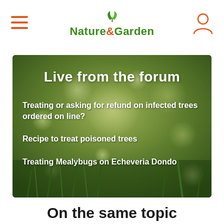Nature & Garden
[Figure (screenshot): Forum banner with green bokeh background showing forum topic links: 'Live from the forum' header, 'Treating or asking for refund on infected trees ordered on line?', 'Recipe to treat poisoned trees', 'Treating Mealybugs on Echeveria Dondo']
On the same topic